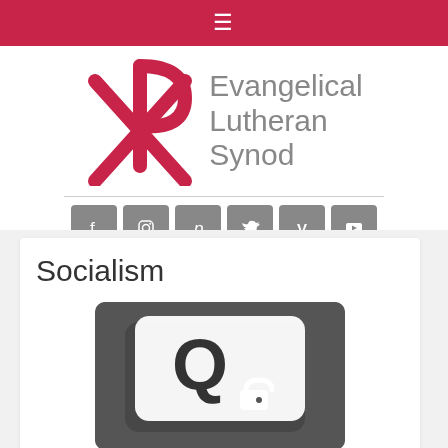≡
[Figure (logo): Evangelical Lutheran Synod logo with Chi Rho symbol in red and grey text]
[Figure (infographic): Six social media icon buttons: Facebook, Instagram, Pinterest, Twitter, Vimeo, YouTube — grey square rounded icons]
Socialism
[Figure (photo): Dark grey rounded rectangle image showing a question mark icon with lock/padlock imagery, representing a Q&A or inquiry topic]